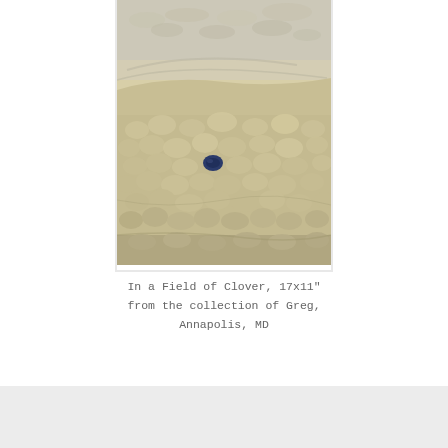[Figure (illustration): Textured mixed-media artwork showing a landscape-like surface with bumpy, sand-colored terrain and a single small dark blue stone or object near the center. The piece has a highly tactile, relief-like surface with cream, beige, and olive tones, resembling a field of clover or organic forms viewed from above.]
In a Field of Clover, 17x11"
from the collection of Greg,
Annapolis, MD